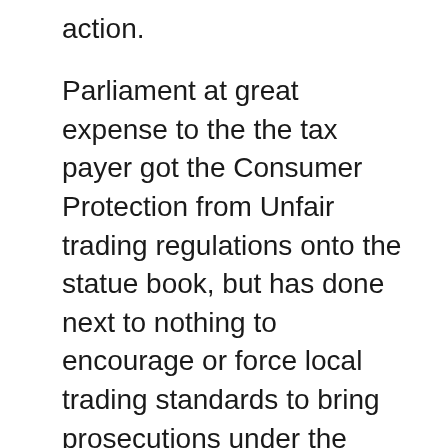action.
Parliament at great expense to the the tax payer got the Consumer Protection from Unfair trading regulations onto the statue book, but has done next to nothing to encourage or force local trading standards to bring prosecutions under the CPUR"S, despite MP's from all major parties stating this is an abuse of those regulations and of consumers. Please see the comments and when they were made, and it becomes clear that MP's and each incumbent government cares little for consumers in this matter, and appear not to want to do anything to harm motor manufacturers profits.